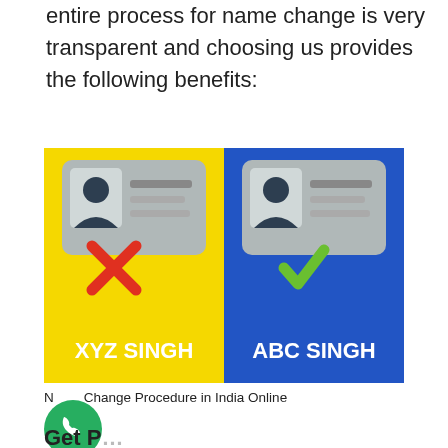entire process for name change is very transparent and choosing us provides the following benefits:
[Figure (infographic): Split infographic showing two ID cards side by side. Left half has yellow background with a gray ID card icon, a red X mark, and white bold text 'XYZ SINGH'. Right half has blue background with a gray ID card icon, a green checkmark, and white bold text 'ABC SINGH'. Illustrates name change from XYZ SINGH to ABC SINGH.]
Name Change Procedure in India Online
Get Peace of Mind — Our experts will